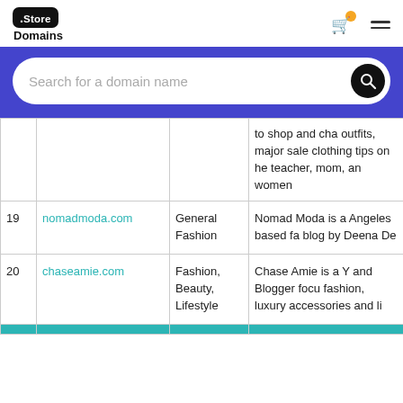[Figure (logo): Store Domains logo with black badge and text]
Search for a domain name
| # | Domain | Category | Description |
| --- | --- | --- | --- |
|  |  |  | to shop and cha outfits, major sale clothing tips on h teacher, mom, an women |
| 19 | nomadmoda.com | General Fashion | Nomad Moda is a Angeles based fa blog by Deena D |
| 20 | chaseamie.com | Fashion, Beauty, Lifestyle | Chase Amie is a Y and Blogger focu fashion, luxury accessories and l |